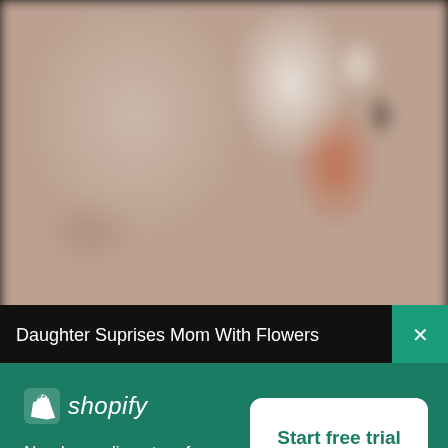[Figure (photo): Blurry photo of a mother and daughter, girl appears to be giving flowers to mom, indoor bedroom setting]
Daughter Suprises Mom With Flowers
[Figure (logo): Shopify logo — white shopping bag icon with 'shopify' italic text in white]
Need an online store for your business?
Start free trial